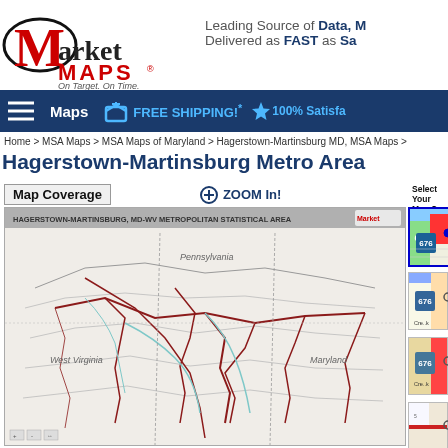[Figure (logo): Market Maps logo with red M, black 'arket', red MAPS text, and tagline 'On Target. On Time.']
Leading Source of Data, M... Delivered as FAST as Sa...
Maps   FREE SHIPPING!*   100% Satisfa...
Home > MSA Maps > MSA Maps of Maryland > Hagerstown-Martinsburg MD, MSA Maps >
Hagerstown-Martinsburg Metro Area
Map Coverage
[Figure (map): Hagerstown-Martinsburg MD-WV Metropolitan Statistical Area map showing counties, roads, state borders with West Virginia and Pennsylvania labeled]
Select Your Map S...
[Figure (map): Map style thumbnail 1 - standard road map with highway 676]
[Figure (map): Map style thumbnail 2 - detailed road map with highway 676]
[Figure (map): Map style thumbnail 3 - shaded/terrain map with highway 676]
[Figure (map): Map style thumbnail 4 - partial view at bottom]